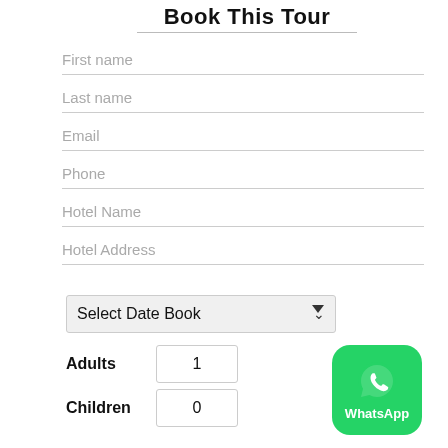Book This Tour
First name
Last name
Email
Phone
Hotel Name
Hotel Address
Select Date Book
Adults  1
Children  0
[Figure (logo): WhatsApp green rounded square button with WhatsApp phone icon and 'WhatsApp' text in white]